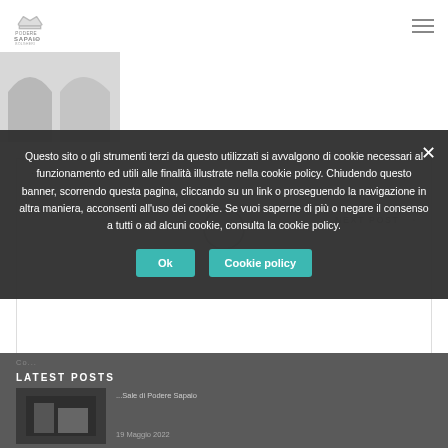[Figure (logo): Sapaio logo with crown icon and text 'SAPAIO' in grey]
[Figure (illustration): Architectural arch/banner image in grey tones]
← PREVIOUS POST
NEXT POST →
LATEST POSTS
[Figure (photo): Small thumbnail of a building/architecture in dark tones]
Sale di Podere Sapaio
19 Maggio 2022
Questo sito o gli strumenti terzi da questo utilizzati si avvalgono di cookie necessari al funzionamento ed utili alle finalità illustrate nella cookie policy. Chiudendo questo banner, scorrendo questa pagina, cliccando su un link o proseguendo la navigazione in altra maniera, acconsenti all'uso dei cookie. Se vuoi saperne di più o negare il consenso a tutti o ad alcuni cookie, consulta la cookie policy.
Ok
Cookie policy